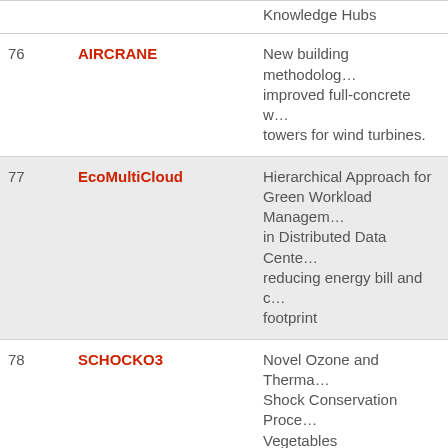| # | Name | Description |
| --- | --- | --- |
|  |  | Knowledge Hubs |
| 76 | AIRCRANE | New building methodology improved full-concrete w… towers for wind turbines. |
| 77 | EcoMultiCloud | Hierarchical Approach for Green Workload Management in Distributed Data Centers reducing energy bill and carbon footprint |
| 78 | SCHOCKO3 | Novel Ozone and Thermal Shock Conservation Process for Vegetables |
| 79 | GAREP | Novel GAsification REactor for combined heat and power |
| 80 | HISPOB | HISPOB- High Speed Potato Breeding: securing health… for the future |